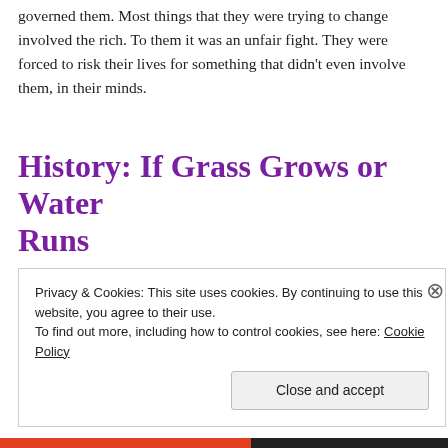governed them. Most things that they were trying to change involved the rich. To them it was an unfair fight. They were forced to risk their lives for something that didn't even involve them, in their minds.
History: If Grass Grows or Water Runs
Privacy & Cookies: This site uses cookies. By continuing to use this website, you agree to their use.
To find out more, including how to control cookies, see here: Cookie Policy
Close and accept